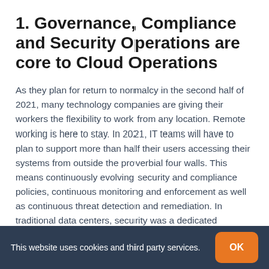1. Governance, Compliance and Security Operations are core to Cloud Operations
As they plan for return to normalcy in the second half of 2021, many technology companies are giving their workers the flexibility to work from any location. Remote working is here to stay. In 2021, IT teams will have to plan to support more than half their users accessing their systems from outside the proverbial four walls. This means continuously evolving security and compliance policies, continuous monitoring and enforcement as well as continuous threat detection and remediation. In traditional data centers, security was a dedicated function. Security is a shared responsibility between the cloud platform and the cloud IT team as well
This website uses cookies and third party services.